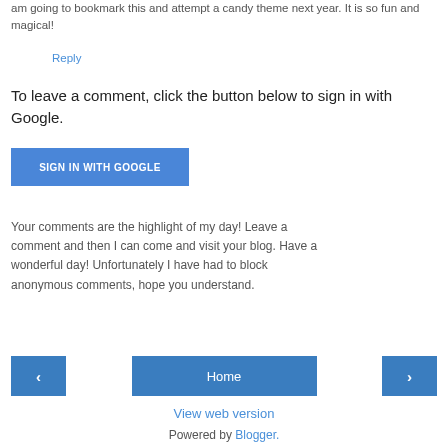am going to bookmark this and attempt a candy theme next year. It is so fun and magical!
Reply
To leave a comment, click the button below to sign in with Google.
[Figure (other): Blue 'SIGN IN WITH GOOGLE' button]
Your comments are the highlight of my day! Leave a comment and then I can come and visit your blog. Have a wonderful day! Unfortunately I have had to block anonymous comments, hope you understand.
[Figure (other): Navigation bar with left arrow button, Home button, and right arrow button]
View web version
Powered by Blogger.